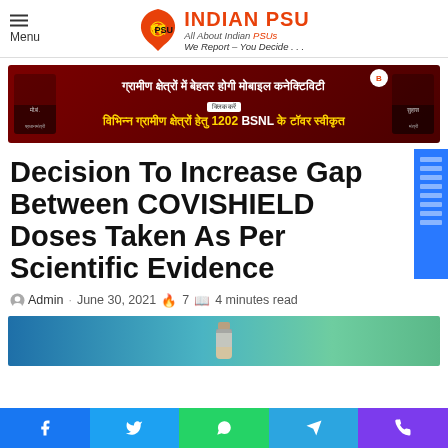Menu | INDIAN PSU — All About Indian PSUs. We Report – You Decide . . .
[Figure (infographic): BSNL promotional banner in Hindi about improving mobile connectivity in rural areas with 1202 BSNL towers approved]
Decision To Increase Gap Between COVISHIELD Doses Taken As Per Scientific Evidence
Admin · June 30, 2021 🔥 7 📖 4 minutes read
[Figure (photo): Partial photo of a COVID-19 vaccine vial on teal/green background]
Facebook | Twitter | WhatsApp | Telegram | Phone